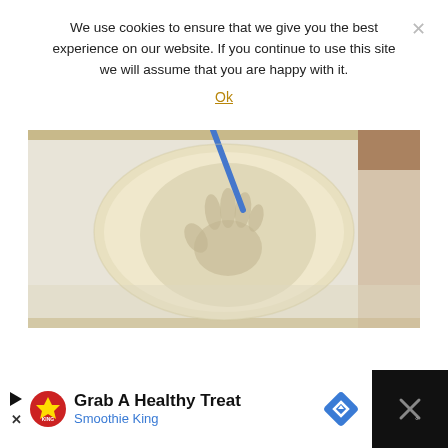We use cookies to ensure that we give you the best experience on our website. If you continue to use this site we will assume that you are happy with it.
Ok
[Figure (photo): A circular salt dough ornament with a child's handprint pressed into the center, placed on white parchment paper. A blue straw or stick is inserted at the top for hanging. The dough is pale cream/white colored.]
[Figure (infographic): Advertisement banner for Smoothie King. Shows a play button icon, Smoothie King logo, text 'Grab A Healthy Treat' and 'Smoothie King', a blue navigation arrow icon, and a close button on dark background.]